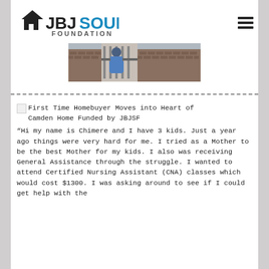JBJ SOUL FOUNDATION
[Figure (photo): Hero image showing people near a brick wall/fence area]
- - - - - - - - - - - - - - - - - - - - - - - - - - - - - - - - - - - - - -
First Time Homebuyer Moves into Heart of Camden Home Funded by JBJSF
“Hi my name is Chimere and I have 3 kids. Just a year ago things were very hard for me. I tried as a Mother to be the best Mother for my kids. I also was receiving General Assistance through the struggle. I wanted to attend Certified Nursing Assistant (CNA) classes which would cost $1300. I was asking around to see if I could get help with the